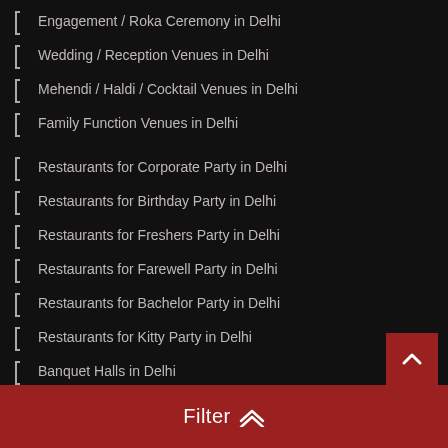Engagement / Roka Ceremony in Delhi
Wedding / Reception Venues in Delhi
Mehendi / Haldi / Cocktail Venues in Delhi
Family Function Venues in Delhi
Restaurants for Corporate Party in Delhi
Restaurants for Birthday Party in Delhi
Restaurants for Freshers Party in Delhi
Restaurants for Farewell Party in Delhi
Restaurants for Bachelor Party in Delhi
Restaurants for Kitty Party in Delhi
Banquet Halls in Delhi
Banquet Halls For Kids Birthday Party in Delhi
Banquet Halls For Anniversary Party in Delhi
Filter